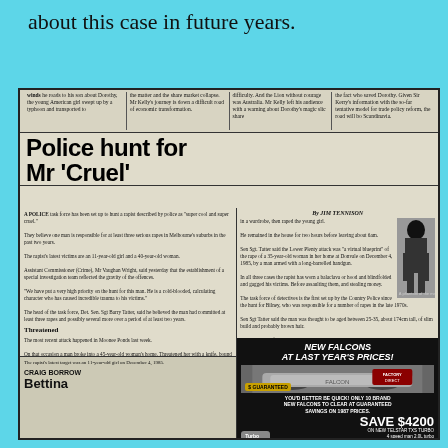about this case in future years.
[Figure (photo): Scanned newspaper clipping with headline 'Police hunt for Mr Cruel', article text, phantom suspect illustration, and car advertisement for New Falcons at Last Year's Prices]
Police hunt for Mr 'Cruel'
A POLICE task force has been set up to hunt a rapist described by police as 'super cool and super cruel.'
By JIM TENNISON
NEW FALCONS AT LAST YEAR'S PRICES!
YOU'D BETTER BE QUICK! ONLY 10 BRAND NEW FALCONS TO CLEAR AT GUARANTEED SAVINGS ON 1987 PRICES.
SAVE $4200
Retell's Price only $21,625
SAVE $2000